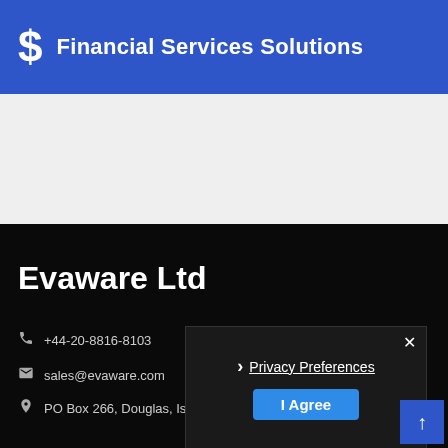Financial Services Solutions
Evaware Ltd
+44-20-8816-8103
sales@evaware.com
PO Box 266, Douglas, Isle of Man, IM99 2RG
Privacy Preferences
I Agree